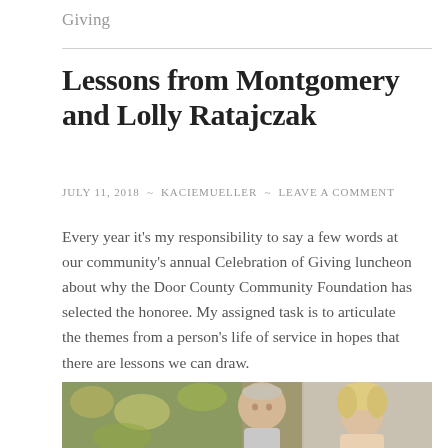Giving
Lessons from Montgomery and Lolly Ratajczak
JULY 11, 2018 ~ KACIEMUELLER ~ LEAVE A COMMENT
Every year it's my responsibility to say a few words at our community's annual Celebration of Giving luncheon about why the Door County Community Foundation has selected the honoree. My assigned task is to articulate the themes from a person's life of service in hopes that there are lessons we can draw.
[Figure (photo): A photograph of an older man and a blonde woman, likely Montgomery and Lolly Ratajczak, with a colorful painting visible in the background.]